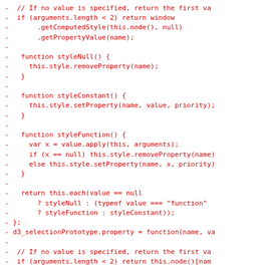- // If no value is specified, return the first va
- if (arguments.length < 2) return window
-       .getComputedStyle(this.node(), null)
-       .getPropertyValue(name);
-
-   function styleNull() {
-     this.style.removeProperty(name);
-   }
-
-   function styleConstant() {
-     this.style.setProperty(name, value, priority);
-   }
-
-   function styleFunction() {
-     var x = value.apply(this, arguments);
-     if (x == null) this.style.removeProperty(name)
-     else this.style.setProperty(name, x, priority)
-   }
-
-   return this.each(value == null
-       ? styleNull : (typeof value === "function"
-       ? styleFunction : styleConstant));
- };
- d3_selectionPrototype.property = function(name, va
-
- // If no value is specified, return the first va
- if (arguments.length < 2) return this.node()[nam
-
-   function propertyNull() {
-     delete this[name];